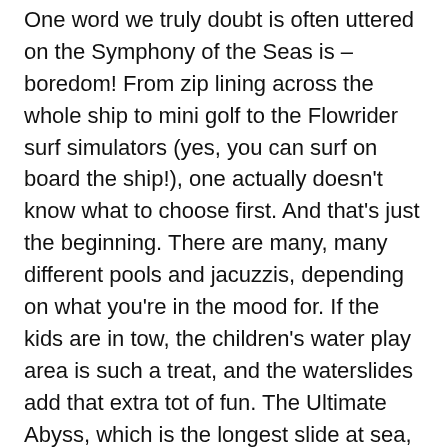One word we truly doubt is often uttered on the Symphony of the Seas is – boredom! From zip lining across the whole ship to mini golf to the Flowrider surf simulators (yes, you can surf on board the ship!), one actually doesn't know what to choose first. And that's just the beginning. There are many, many different pools and jacuzzis, depending on what you're in the mood for. If the kids are in tow, the children's water play area is such a treat, and the waterslides add that extra tot of fun. The Ultimate Abyss, which is the longest slide at sea, is definitely the show-stopper. With all that adrenalin flowing, once you've reached the bottom pop into Sugarbeach ice cream and candy bar. The huge variety of treats is sure to give you another (sugar) rush! Have a go on the carousel outside the shop while licking an ice cream from the cracking choice of flavours – you'll feel like a kid at a theme park